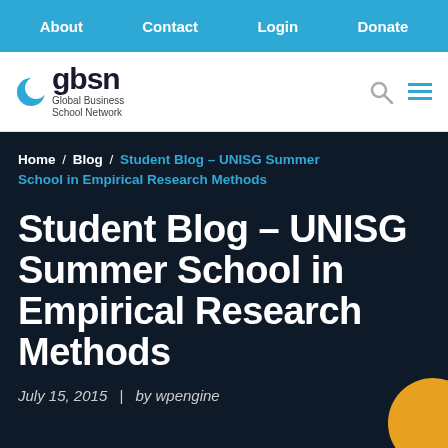About  Contact  Login  Donate
[Figure (logo): GBSN Global Business School Network logo with blue crescent icon]
Home / Blog / Student Blog – UNISG Summer School in Empirical Research Methods
Student Blog – UNISG Summer School in Empirical Research Methods
July 15, 2015  |  by wpengine